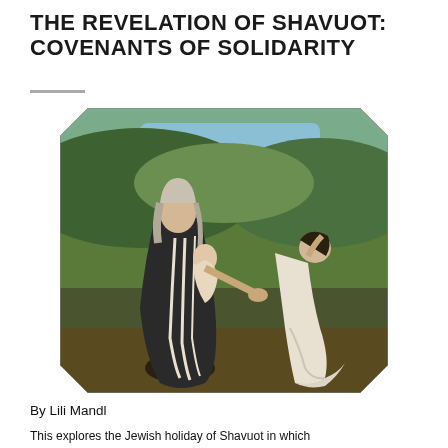THE REVELATION OF SHAVUOT: COVENANTS OF SOLIDARITY
[Figure (illustration): A classical painting depicting two female figures in a landscape with green hills and a blue sky. The figure on the left wears dark robes and holds what appears to be a child or small figure, while gesturing with one outstretched hand. The figure on the right is dressed in white and bends forward in a posture of grief or supplication. The painting appears to be by William Blake, related to the biblical story of Naomi and Ruth.]
By Lili Mandl
This explores the Jewish holiday of Shavuot in which